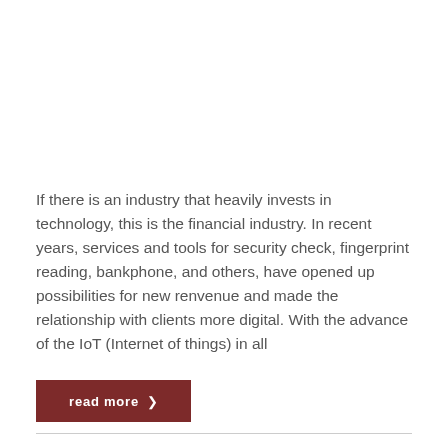If there is an industry that heavily invests in technology, this is the financial industry. In recent years, services and tools for security check, fingerprint reading, bankphone, and others, have opened up possibilities for new renvenue and made the relationship with clients more digital. With the advance of the IoT (Internet of things) in all
read more ❯